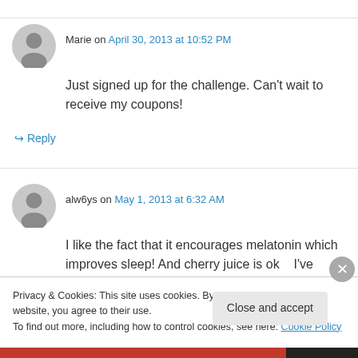Marie on April 30, 2013 at 10:52 PM
Just signed up for the challenge. Can't wait to receive my coupons!
↪ Reply
alw6ys on May 1, 2013 at 6:32 AM
I like the fact that it encourages melatonin which improves sleep! And cherry juice is ok    I've
Privacy & Cookies: This site uses cookies. By continuing to use this website, you agree to their use.
To find out more, including how to control cookies, see here: Cookie Policy
Close and accept